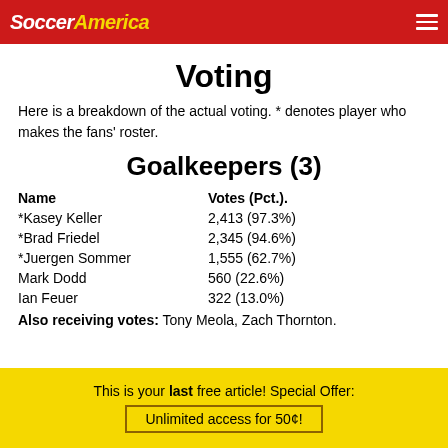SoccerAmerica
Voting
Here is a breakdown of the actual voting. * denotes player who makes the fans' roster.
Goalkeepers (3)
| Name | Votes (Pct.). |
| --- | --- |
| *Kasey Keller | 2,413 (97.3%) |
| *Brad Friedel | 2,345 (94.6%) |
| *Juergen Sommer | 1,555 (62.7%) |
| Mark Dodd | 560 (22.6%) |
| Ian Feuer | 322 (13.0%) |
Also receiving votes: Tony Meola, Zach Thornton.
This is your last free article! Special Offer: Unlimited access for 50¢!